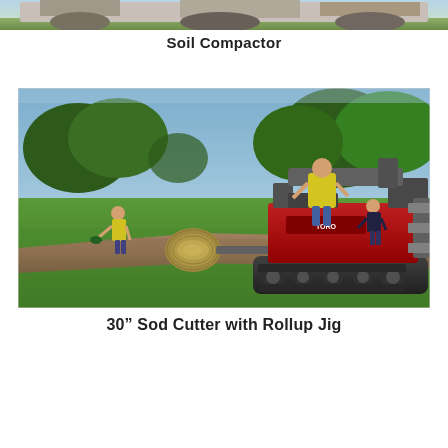[Figure (photo): Partial top view of a soil compactor machine on grass/turf, showing the upper portion of the equipment.]
Soil Compactor
[Figure (photo): A tracked compact utility loader (Toro Dingo) with a 30-inch sod cutter and rollup jig attachment on a golf course. One worker in a yellow vest operates the machine, another worker in the background carries equipment, and a third person stands watching. The machine is rolling up a strip of sod on a dirt path between green grass areas, with trees in the background.]
30” Sod Cutter with Rollup Jig